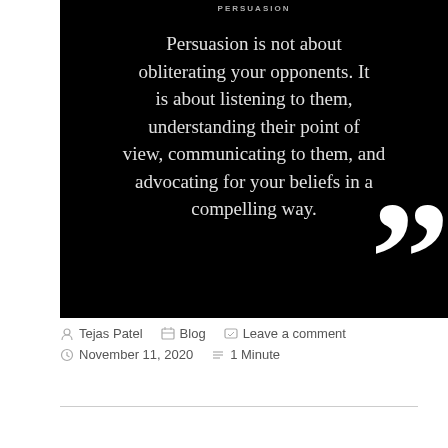PERSUASION
[Figure (illustration): Black background quote card with cursive white text reading: 'Persuasion is not about obliterating your opponents. It is about listening to them, understanding their point of view, communicating to them, and advocating for your beliefs in a compelling way.' Large white closing quotation marks in lower right corner.]
Tejas Patel   Blog   Leave a comment
November 11, 2020   1 Minute